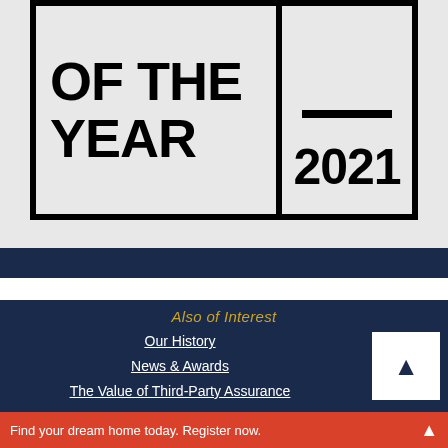[Figure (logo): Award badge showing 'OF THE YEAR 2021' with bold black text in a bordered box with a vertical divider and horizontal bar]
Also of Interest
Our History
News & Awards
The Value of Third-Party Assurance
Find your dream home today. Register now.